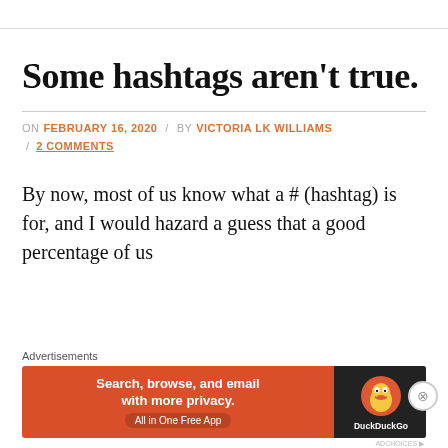Some hashtags aren't true.
ON FEBRUARY 16, 2020 / BY VICTORIA LK WILLIAMS / 2 COMMENTS
By now, most of us know what a # (hashtag) is for, and I would hazard a guess that a good percentage of us
[Figure (screenshot): DuckDuckGo advertisement banner: 'Search, browse, and email with more privacy. All in One Free App' with DuckDuckGo duck logo on dark background]